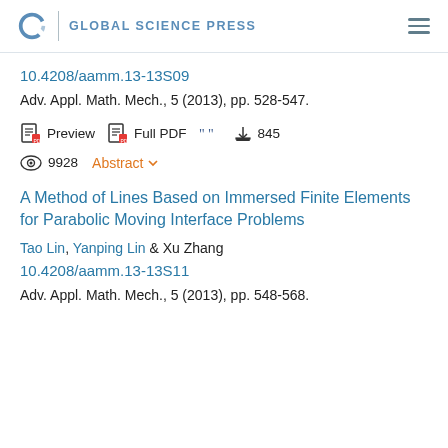GLOBAL SCIENCE PRESS
10.4208/aamm.13-13S09
Adv. Appl. Math. Mech., 5 (2013), pp. 528-547.
Preview   Full PDF   [cite]   845
9928   Abstract
A Method of Lines Based on Immersed Finite Elements for Parabolic Moving Interface Problems
Tao Lin, Yanping Lin & Xu Zhang
10.4208/aamm.13-13S11
Adv. Appl. Math. Mech., 5 (2013), pp. 548-568.